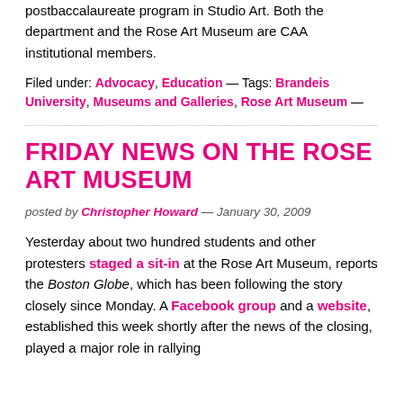postbaccalaureate program in Studio Art. Both the department and the Rose Art Museum are CAA institutional members.
Filed under: Advocacy, Education — Tags: Brandeis University, Museums and Galleries, Rose Art Museum —
FRIDAY NEWS ON THE ROSE ART MUSEUM
posted by Christopher Howard — January 30, 2009
Yesterday about two hundred students and other protesters staged a sit-in at the Rose Art Museum, reports the Boston Globe, which has been following the story closely since Monday. A Facebook group and a website, established this week shortly after the news of the closing, played a major role in rallying